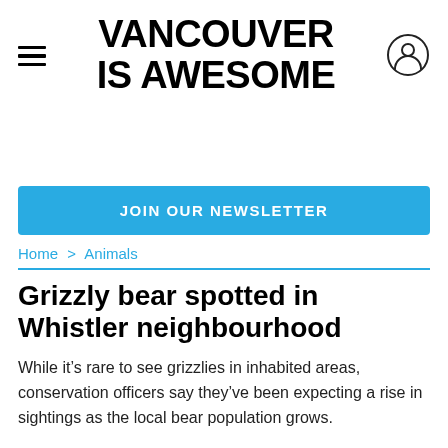VANCOUVER IS AWESOME
JOIN OUR NEWSLETTER
Home > Animals
Grizzly bear spotted in Whistler neighbourhood
While it’s rare to see grizzlies in inhabited areas, conservation officers say they’ve been expecting a rise in sightings as the local bear population grows.